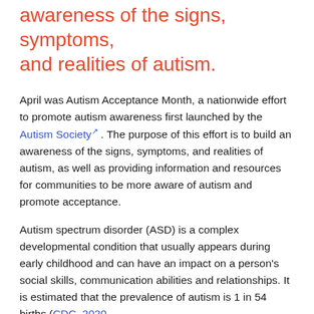awareness of the signs, symptoms, and realities of autism.
April was Autism Acceptance Month, a nationwide effort to promote autism awareness first launched by the Autism Society. The purpose of this effort is to build an awareness of the signs, symptoms, and realities of autism, as well as providing information and resources for communities to be more aware of autism and promote acceptance.
Autism spectrum disorder (ASD) is a complex developmental condition that usually appears during early childhood and can have an impact on a person's social skills, communication abilities and relationships. It is estimated that the prevalence of autism is 1 in 54 births (CDC, 2020